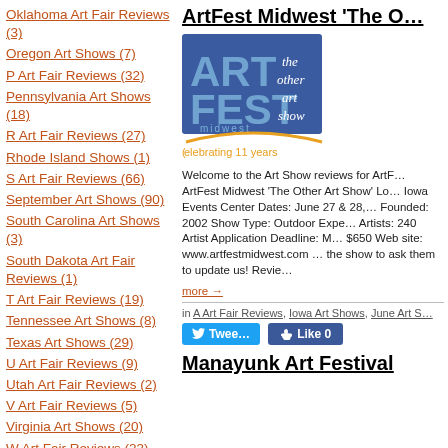Oklahoma Art Fair Reviews (3)
Oregon Art Shows (7)
P Art Fair Reviews (32)
Pennsylvania Art Shows (18)
R Art Fair Reviews (27)
Rhode Island Shows (1)
S Art Fair Reviews (66)
September Art Shows (90)
South Carolina Art Shows (3)
South Dakota Art Fair Reviews (1)
T Art Fair Reviews (19)
Tennessee Art Shows (8)
Texas Art Shows (29)
U Art Fair Reviews (9)
Utah Art Fair Reviews (2)
V Art Fair Reviews (5)
Virginia Art Shows (20)
W Art Fair Reviews (23)
ArtFest Midwest 'The O…
[Figure (logo): ArtFest Midwest logo - blue square with ART FEST text and 'the other art show' script, with 'celebrating 11 years' tagline in orange/gold]
Welcome to the Art Show reviews for ArtF… ArtFest Midwest 'The Other Art Show' Lo… Iowa Events Center Dates: June 27 & 28,… Founded: 2002 Show Type: Outdoor Expe… Artists: 240 Artist Application Deadline: M… $650 Web site: www.artfestmidwest.com … the show to ask them to update us! Revie…
more →
in A Art Fair Reviews, Iowa Art Shows, June Art S…
Manayunk Art Festival